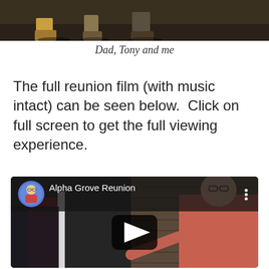[Figure (photo): Photo showing feet/legs of people standing, partial view, dark background]
Dad, Tony and me
The full reunion film (with music intact) can be seen below.  Click on full screen to get the full viewing experience.
[Figure (screenshot): YouTube video embed showing 'Alpha Grove Reunion' with a play button overlay, showing a person in a salmon/orange shirt standing near a brick wall and red door]